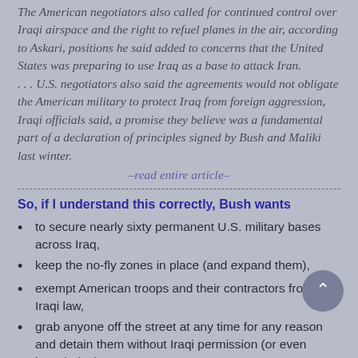The American negotiators also called for continued control over Iraqi airspace and the right to refuel planes in the air, according to Askari, positions he said added to concerns that the United States was preparing to use Iraq as a base to attack Iran. . . . U.S. negotiators also said the agreements would not obligate the American military to protect Iraq from foreign aggression, Iraqi officials said, a promise they believe was a fundamental part of a declaration of principles signed by Bush and Maliki last winter.
–read entire article–
So, if I understand this correctly, Bush wants
to secure nearly sixty permanent U.S. military bases across Iraq,
keep the no-fly zones in place (and expand them),
exempt American troops and their contractors from Iraqi law,
grab anyone off the street at any time for any reason and detain them without Iraqi permission (or even knowledge),
conduct whatever military operations you dream up...